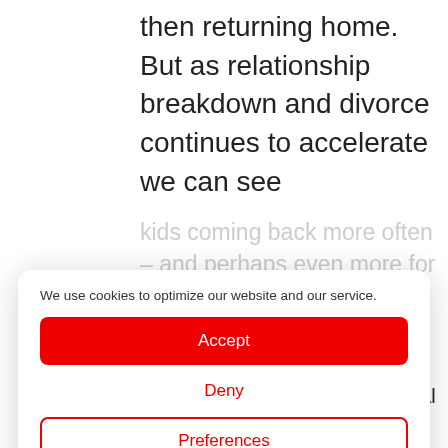then returning home. But as relationship breakdown and divorce continues to accelerate we can see
kids coming back more often – and perhaps even more for their own kids.
We use cookies to optimize our website and our service.
Accept
Deny
Preferences
Legal Information · Privacy Statement
homes?
Digital natives
As more and more youngsters enter the workforce who are digital natives